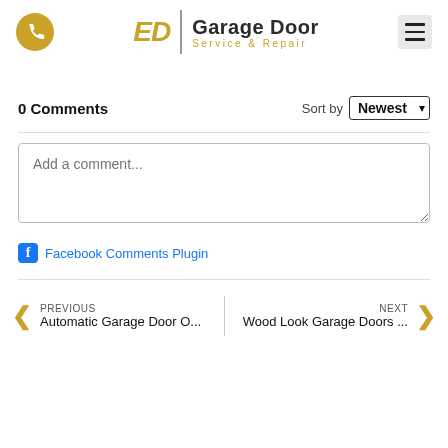[Figure (logo): ED Garage Door Service & Repair logo with phone icon and hamburger menu]
0 Comments
Sort by Newest
Add a comment...
Facebook Comments Plugin
PREVIOUS Automatic Garage Door O...
NEXT Wood Look Garage Doors ...